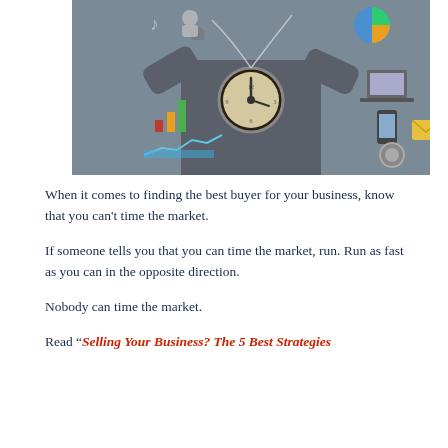[Figure (photo): A businessman in a suit holding an alarm clock with both hands, surrounded by illustrated business icons and charts on a grey background.]
When it comes to finding the best buyer for your business, know that you can't time the market.
If someone tells you that you can time the market, run. Run as fast as you can in the opposite direction.
Nobody can time the market.
Read “Selling Your Business? The 5 Best Strategies